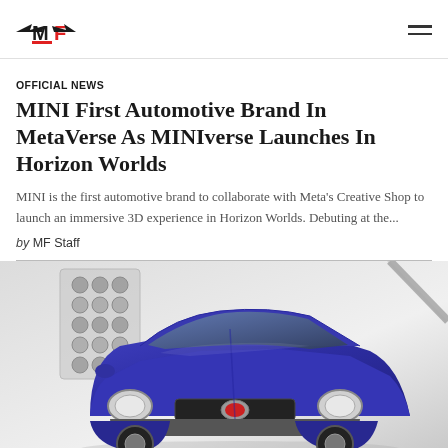MF (logo)
OFFICIAL NEWS
MINI First Automotive Brand In MetaVerse As MINIverse Launches In Horizon Worlds
MINI is the first automotive brand to collaborate with Meta's Creative Shop to launch an immersive 3D experience in Horizon Worlds. Debuting at the...
by MF Staff
[Figure (photo): Blue vintage MINI Cooper photographed in a studio setting with lighting equipment visible in the background. The car is shown from a front three-quarter angle.]